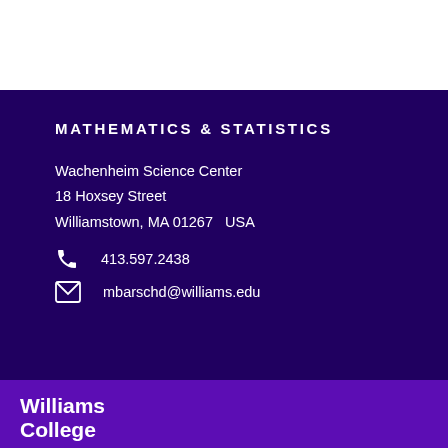MATHEMATICS & STATISTICS
Wachenheim Science Center
18 Hoxsey Street
Williamstown, MA 01267  USA
413.597.2438
mbarschd@williams.edu
[Figure (logo): Williams College logo text in white on purple background]